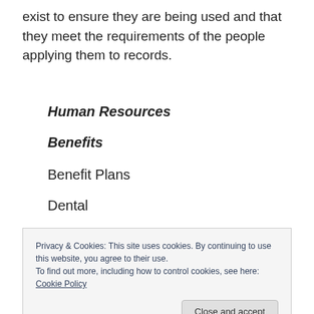exist to ensure they are being used and that they meet the requirements of the people applying them to records.
Human Resources
Benefits
Benefit Plans
Dental
Educational Allowances
Housing
Incentive Plans / Stock Options
Privacy & Cookies: This site uses cookies. By continuing to use this website, you agree to their use.
To find out more, including how to control cookies, see here: Cookie Policy